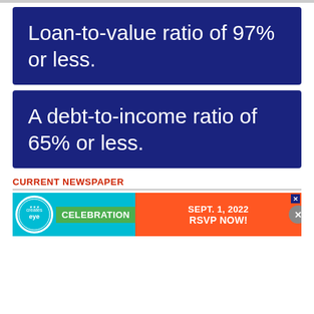Loan-to-value ratio of 97% or less.
A debt-to-income ratio of 65% or less.
CURRENT NEWSPAPER
[Figure (infographic): Advertisement banner for a celebration event on Sept. 1, 2022 with RSVP NOW call to action]